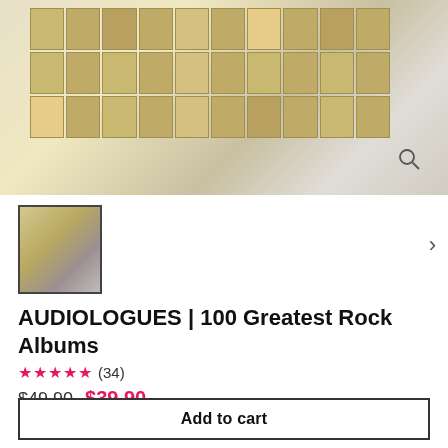[Figure (photo): Product image of AUDIOLOGUES 100 Greatest Rock Albums poster/book set showing a grid of album covers on a cream/gold background, with additional accessories and a guitar pick]
[Figure (photo): Thumbnail image of the product showing album grid and accessories]
AUDIOLOGUES | 100 Greatest Rock Albums
★★★★★ (34)
$49.90  $39.90
Shipping calculated at checkout.
Add to cart